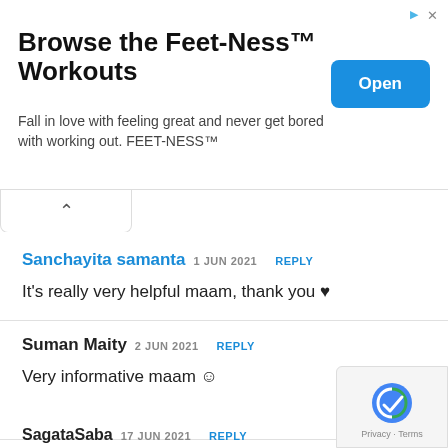[Figure (infographic): Advertisement banner for Feet-Ness Workouts with Open button]
Browse the Feet-Ness™ Workouts
Fall in love with feeling great and never get bored with working out. FEET-NESS™
Sanchayita samanta 1 JUN 2021  REPLY
It's really very helpful maam, thank you ♥
Suman Maity 2 JUN 2021  REPLY
Very informative maam ☺
SagataSaba 17 JUN 2021  REPLY